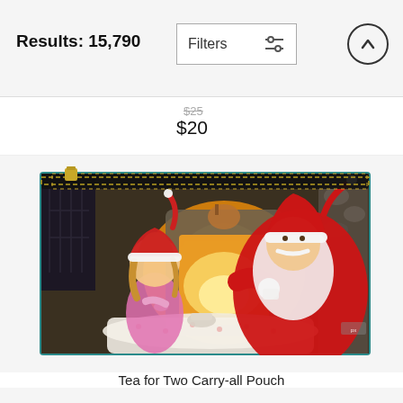Results: 15,790 | Filters
$25 $20
[Figure (photo): A zipper pouch (carry-all) featuring a painting of Santa Claus sharing tea with a young girl wearing a Santa hat, seated at a table in front of a fireplace. The image has a watermark 'px' in bottom right corner. The pouch has a gold zipper along the top.]
Tea for Two Carry-all Pouch